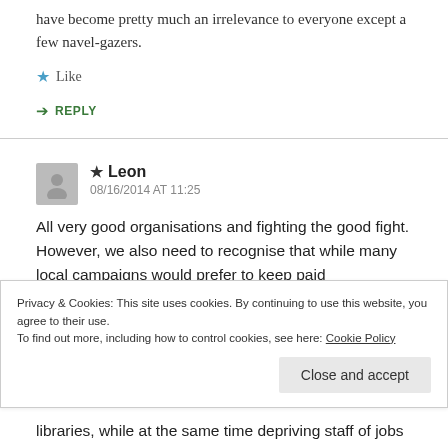have become pretty much an irrelevance to everyone except a few navel-gazers.
★ Like
↪ REPLY
★ Leon
08/16/2014 AT 11:25
All very good organisations and fighting the good fight. However, we also need to recognise that while many local campaigns would prefer to keep paid
Privacy & Cookies: This site uses cookies. By continuing to use this website, you agree to their use.
To find out more, including how to control cookies, see here: Cookie Policy
Close and accept
libraries, while at the same time depriving staff of jobs